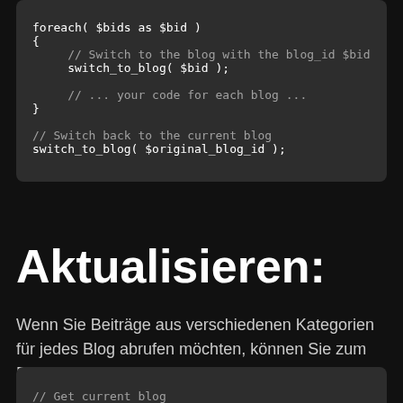foreach( $bids as $bid )
{
        // Switch to the blog with the blog_id $bid
        switch_to_blog( $bid );

        // ... your code for each blog ...
}

// Switch back to the current blog
switch_to_blog( $original_blog_id );
Aktualisieren:
Wenn Sie Beiträge aus verschiedenen Kategorien für jedes Blog abrufen möchten, können Sie zum Beispiel Folgendes verwenden:
// Get current blog
$original_blog_id = get_current_blog_id();